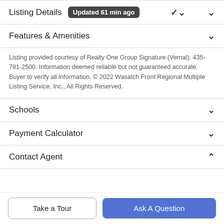Listing Details — Updated 61 min ago
Features & Amenities
Listing provided courtesy of Realty One Group Signature (Vernal): 435-781-2500. Information deemed reliable but not guaranteed accurate. Buyer to verify all information. © 2022 Wasatch Front Regional Multiple Listing Service, Inc., All Rights Reserved.
Schools
Payment Calculator
Contact Agent